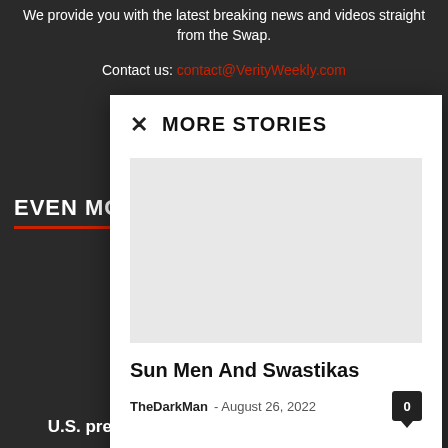We provide you with the latest breaking news and videos straight from the Swap.
Contact us: contact@VerityWeekly.com
EVEN MOR
MORE STORIES
Sun Men And Swastikas
TheDarkMan - August 26, 2022
U.S. presses Japan to cancel Constitution's